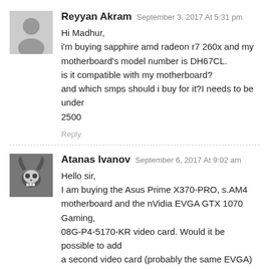Reyyan Akram — September 3, 2017 At 5:31 pm
Hi Madhur,
i'm buying sapphire amd radeon r7 260x and my motherboard's model number is DH67CL.
is it compatible with my motherboard?
and which smps should i buy for it?I needs to be under 2500
Reply
Atanas Ivanov — September 6, 2017 At 9:02 am
Hello sir,
I am buying the Asus Prime X370-PRO, s.AM4 motherboard and the nVidia EVGA GTX 1070 Gaming, 08G-P4-5170-KR video card. Would it be possible to add a second video card (probably the same EVGA) in the future?
My CPU is AMD 1800x.
Reply